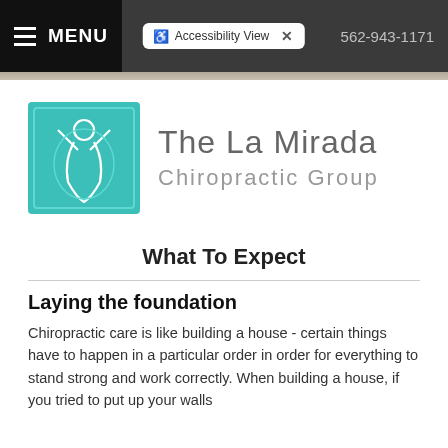MENU   Accessibility View   562-943-1171
[Figure (logo): The La Mirada Chiropractic Group logo — teal square with white line drawing of a human figure with raised arms]
The La Mirada Chiropractic Group
What To Expect
Laying the foundation
Chiropractic care is like building a house - certain things have to happen in a particular order in order for everything to stand strong and work correctly. When building a house, if you tried to put up your walls